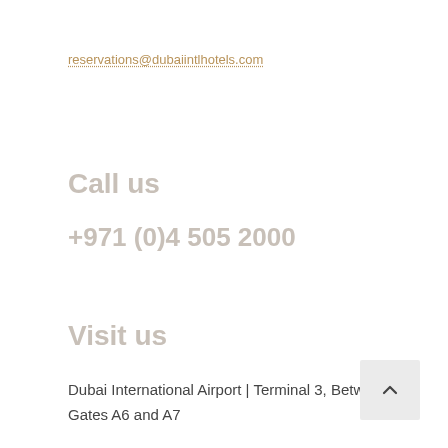reservations@dubaiintlhotels.com
Call us
+971 (0)4 505 2000
Visit us
Dubai International Airport | Terminal 3, Between Gates A6 and A7
[Figure (other): Back to top button with upward chevron arrow on light grey background]